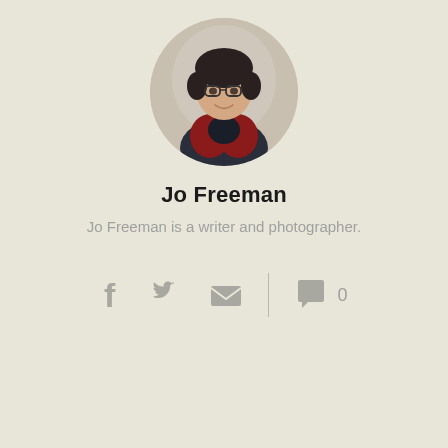[Figure (photo): Circular profile photo of Jo Freeman, a woman with short dark hair and glasses, wearing a dark turtleneck and red jacket, smiling.]
Jo Freeman
Jo Freeman is a writer and photographer.
[Figure (infographic): Social sharing icons: Facebook (f), Twitter (bird), Email (envelope), a vertical divider, then a speech bubble comment icon with count 0.]